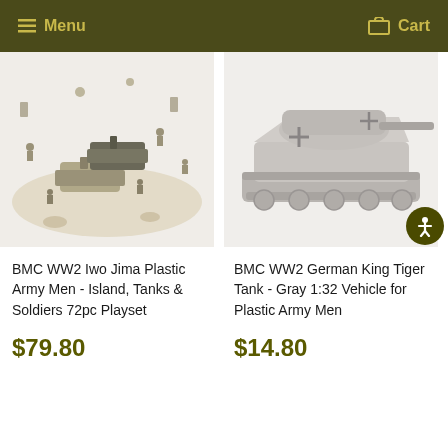Menu  Cart
[Figure (photo): BMC WW2 Iwo Jima plastic army men playset showing island scene with tanks, soldiers, and terrain pieces spread out]
BMC WW2 Iwo Jima Plastic Army Men - Island, Tanks & Soldiers 72pc Playset
$79.80
[Figure (photo): BMC WW2 German King Tiger Tank model in gray color, 1:32 scale vehicle for plastic army men]
BMC WW2 German King Tiger Tank - Gray 1:32 Vehicle for Plastic Army Men
$14.80